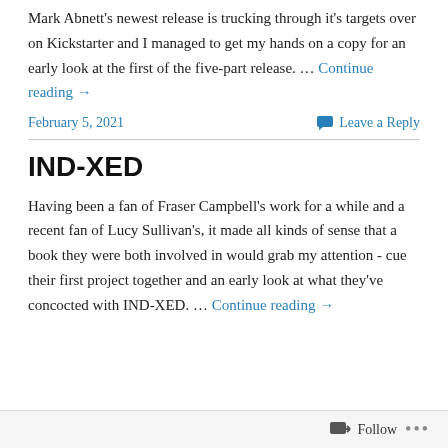Mark Abnett's newest release is trucking through it's targets over on Kickstarter and I managed to get my hands on a copy for an early look at the first of the five-part release. … Continue reading →
February 5, 2021
Leave a Reply
IND-XED
Having been a fan of Fraser Campbell's work for a while and a recent fan of Lucy Sullivan's, it made all kinds of sense that a book they were both involved in would grab my attention - cue their first project together and an early look at what they've concocted with IND-XED. … Continue reading →
Follow ···